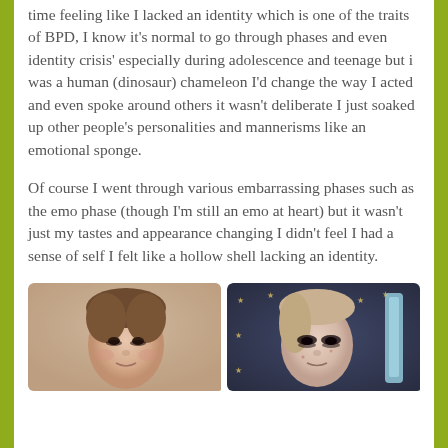time feeling like I lacked an identity which is one of the traits of BPD, I know it's normal to go through phases and even identity crisis' especially during adolescence and teenage but i was a human (dinosaur) chameleon I'd change the way I acted and even spoke around others it wasn't deliberate I just soaked up other people's personalities and mannerisms like an emotional sponge.
Of course I went through various embarrassing phases such as the emo phase (though I'm still an emo at heart) but it wasn't just my tastes and appearance changing I didn't feel I had a sense of self I felt like a hollow shell lacking an identity.
[Figure (photo): Two side-by-side photos of a young woman at different ages/phases. Left photo shows her with dark eye makeup against a light background with stars. Right photo shows her with heavy dark eye makeup (emo phase) against a star-patterned dark background with hair straighteners visible.]